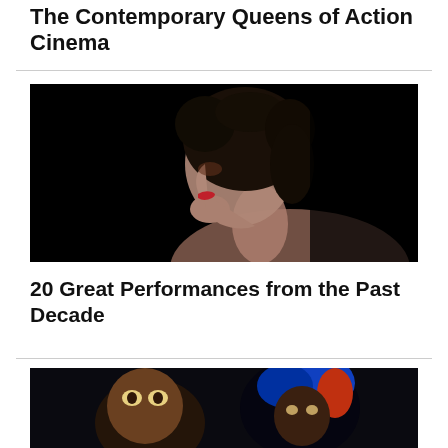The Contemporary Queens of Action Cinema
[Figure (photo): Side profile of a woman with dark curly hair against a black background, wearing red lipstick, bare shoulders]
20 Great Performances from the Past Decade
[Figure (photo): Two people visible at bottom of page, one with wide eyes and one with blue/red hair, dark background]